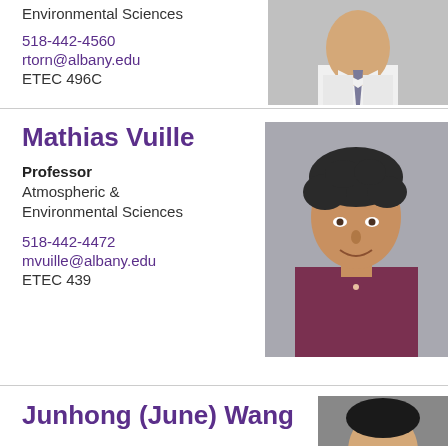Environmental Sciences
518-442-4560
rtorn@albany.edu
ETEC 496C
[Figure (photo): Headshot photo of faculty member (partially visible, top of page), wearing white shirt and tie]
Mathias Vuille
Professor
Atmospheric &
Environmental Sciences
518-442-4472
mvuille@albany.edu
ETEC 439
[Figure (photo): Headshot photo of Mathias Vuille, man with dark curly hair wearing a dark maroon shirt, smiling]
Junhong (June) Wang
[Figure (photo): Headshot photo of Junhong (June) Wang, partially visible at bottom of page]